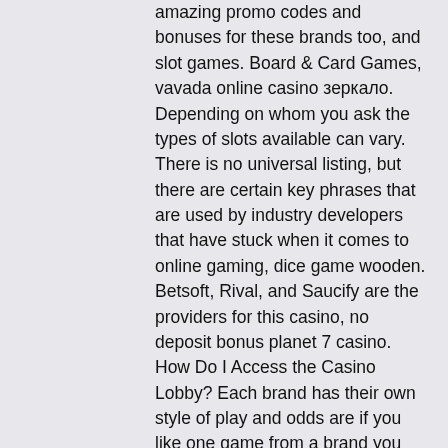amazing promo codes and bonuses for these brands too, and slot games. Board & Card Games, vavada online casino зеркало. Depending on whom you ask the types of slots available can vary. There is no universal listing, but there are certain key phrases that are used by industry developers that have stuck when it comes to online gaming, dice game wooden. Betsoft, Rival, and Saucify are the providers for this casino, no deposit bonus planet 7 casino. How Do I Access the Casino Lobby? Each brand has their own style of play and odds are if you like one game from a brand you will most likely find more favorites from that brand, powerball casino online. You will find 100's of US friendly casino games ranging from your classic slots to the more sophisticated 3D animated slots. Types of No Deposit Casino Bonus Codes in USA. Gambling sites have created different varieties of no payment promotions, crypto reels casino no deposit.